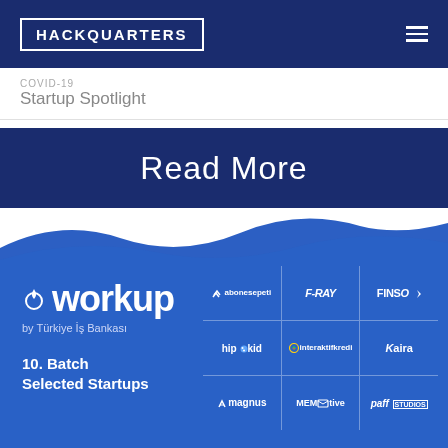HACKQUARTERS
Startup Spotlight
Read More
[Figure (infographic): Workup by Türkiye İş Bankası 10. Batch Selected Startups card with logos: abonesepeti, F-RAY, FINSO, hipokid, interaktifkredi, Kaira, magnus, MEMOtive, paff studios]